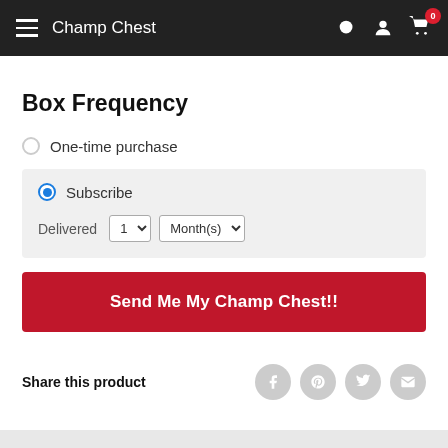Champ Chest
Box Frequency
One-time purchase
Subscribe
Delivered 1 Month(s)
Send Me My Champ Chest!!
Share this product